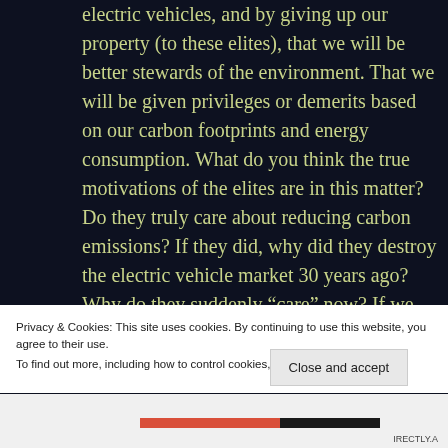electric vehicles, and by giving up our property (to these elites), that we will be better stewards of the environment. That we will be given privileges or demerits based on our carbon footprints and energy consumption. What do you think the true motivations of the elites are in this matter? Do they truly care about reducing carbon emissions? If they did, why did they destroy the electric vehicle market 30 years ago? Why do they suddenly “care” now? If we
Privacy & Cookies: This site uses cookies. By continuing to use this website, you agree to their use.
To find out more, including how to control cookies, see here: Cookie Policy
Close and accept